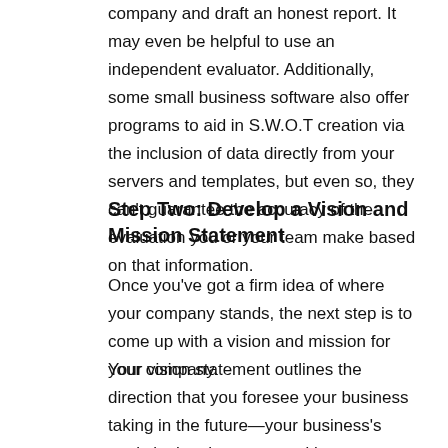company and draft an honest report. It may even be helpful to use an independent evaluator. Additionally, some small business software also offer programs to aid in S.W.O.T creation via the inclusion of data directly from your servers and templates, but even so, they can't guarantee the accuracy of the evaluation you or your team make based on that information.
Step Two: Develop a Vision and Mission Statement
Once you've got a firm idea of where your company stands, the next step is to come up with a vision and mission for your company.
Your vision statement outlines the direction that you foresee your business taking in the future—your business's goals in the short term and long term. You'll want to ask yourself where you envision your business in